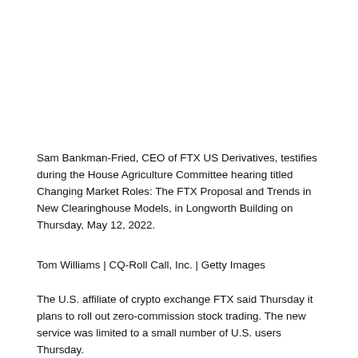Sam Bankman-Fried, CEO of FTX US Derivatives, testifies during the House Agriculture Committee hearing titled Changing Market Roles: The FTX Proposal and Trends in New Clearinghouse Models, in Longworth Building on Thursday, May 12, 2022.
Tom Williams | CQ-Roll Call, Inc. | Getty Images
The U.S. affiliate of crypto exchange FTX said Thursday it plans to roll out zero-commission stock trading. The new service was limited to a small number of U.S. users Thursday.